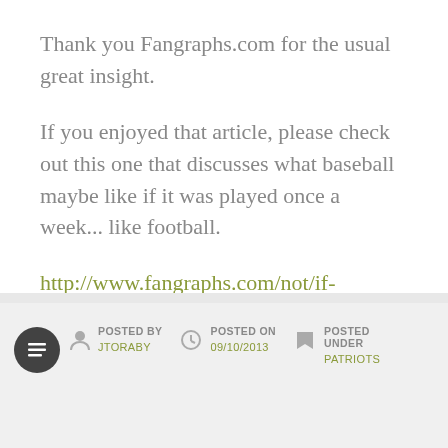Thank you Fangraphs.com for the usual great insight.
If you enjoyed that article, please check out this one that discusses what baseball maybe like if it was played once a week... like football.
http://www.fangraphs.com/not/if-baseball-were-played-once-a-week/
POSTED BY JTORABY | POSTED ON 09/10/2013 | POSTED UNDER PATRIOTS